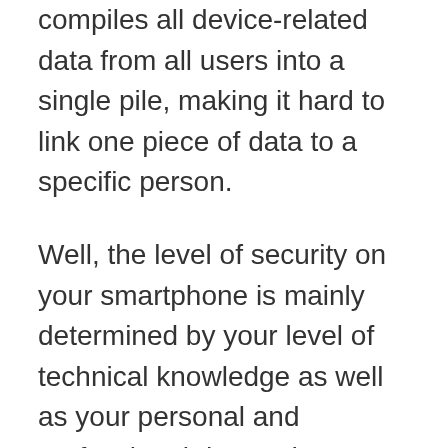compiles all device-related data from all users into a single pile, making it hard to link one piece of data to a specific person.
Well, the level of security on your smartphone is mainly determined by your level of technical knowledge as well as your personal and professional demands.
You can protect yourself from vulnerabilities and protect your data from being hacked through a VPN. VeePN is a company that offers